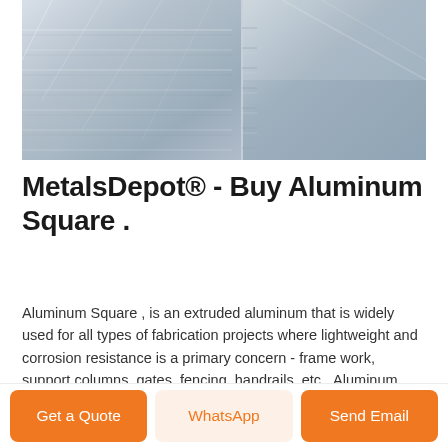[Figure (photo): Stacked aluminum sheets/plates photographed close-up, showing metallic silver surface texture with layered edges.]
MetalsDepot® - Buy Aluminum Square .
Aluminum Square , is an extruded aluminum that is widely used for all types of fabrication projects where lightweight and corrosion resistance is a primary concern - frame work, support columns, gates, fencing, handrails, etc. .Aluminum Price 2022 [Updated Daily] - Metalary · Daily Aluminum Price. $ 2,636.45. per metric ton. Last Updated: April 8, 2022,
Get a Quote
WhatsApp
Send Email